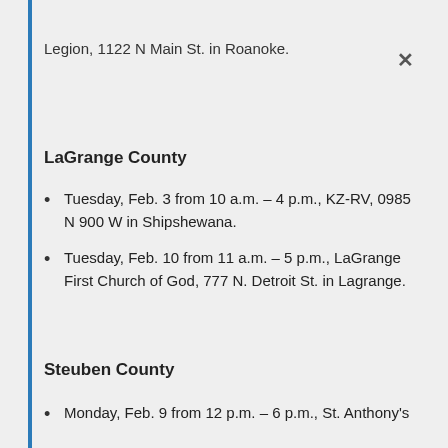Legion, 1122 N Main St. in Roanoke.
LaGrange County
Tuesday, Feb. 3 from 10 a.m. – 4 p.m., KZ-RV, 0985 N 900 W in Shipshewana.
Tuesday, Feb. 10 from 11 a.m. – 5 p.m., LaGrange First Church of God, 777 N. Detroit St. in Lagrange.
Steuben County
Monday, Feb. 9 from 12 p.m. – 6 p.m., St. Anthony's